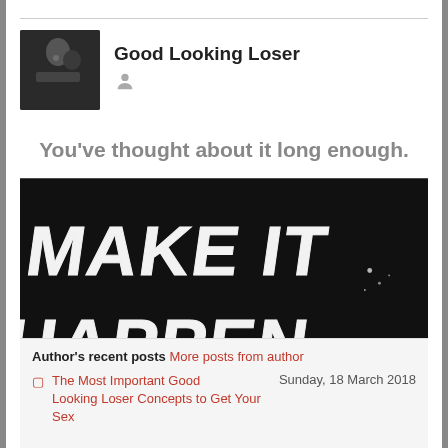Good Looking Loser
You've thought about it long enough.
[Figure (illustration): Black background with white graffiti-style hand-lettered text reading 'MAKE IT HAPPEN.']
Author's recent posts More posts from author
The Most Important Good Looking Loser Concepts to Get Your Sex
Sunday, 18 March 2018